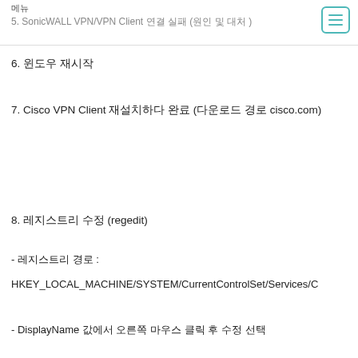메뉴
5. SonicWALL VPN/VPN Client 연결 실패 (원인 및 대처 )
6. 윈도우 재시작
7. Cisco VPN Client 재설치하다 완료 (다운로드 경로 cisco.com)
8. 레지스트리 수정 (regedit)
- 레지스트리 경로 : 
HKEY_LOCAL_MACHINE/SYSTEM/CurrentControlSet/Services/C
- DisplayName 값에서 오른쪽 마우스 클릭 후 수정 선택